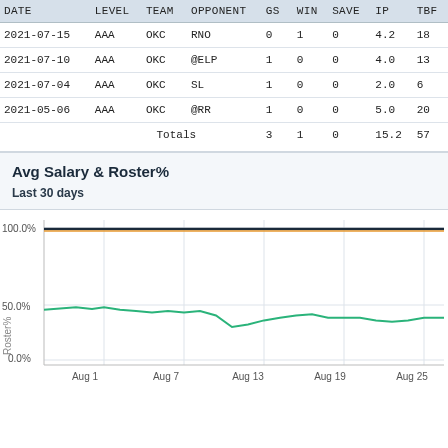| DATE | LEVEL | TEAM | OPPONENT | GS | WIN | SAVE | IP | TBF |
| --- | --- | --- | --- | --- | --- | --- | --- | --- |
| 2021-07-15 | AAA | OKC | RNO | 0 | 1 | 0 | 4.2 | 18 |
| 2021-07-10 | AAA | OKC | @ELP | 1 | 0 | 0 | 4.0 | 13 |
| 2021-07-04 | AAA | OKC | SL | 1 | 0 | 0 | 2.0 | 6 |
| 2021-05-06 | AAA | OKC | @RR | 1 | 0 | 0 | 5.0 | 20 |
|  |  | Totals |  | 3 | 1 | 0 | 15.2 | 57 |
Avg Salary & Roster%
Last 30 days
[Figure (line-chart): Line chart showing Roster% over last 30 days from Aug 1 to Aug 25. A near-flat line near 100% (dark navy/orange), and a green wavy line fluctuating between roughly 25% and 45%.]